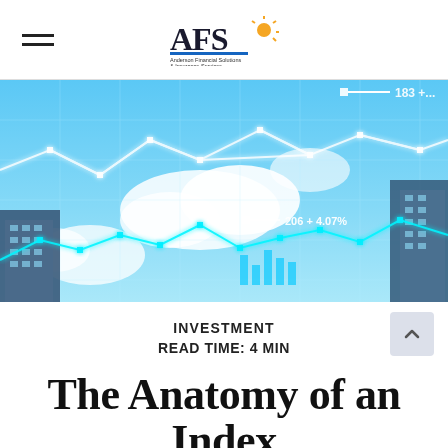Anderson Financial Solutions & Insurance Services logo
[Figure (photo): Financial market data visualization with glowing white network lines and nodes overlaid on a blue sky with clouds and city buildings. Displays stock ticker annotations: '183 +...' and '206 +4.07%']
INVESTMENT
READ TIME: 4 MIN
The Anatomy of an Index